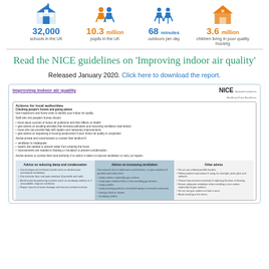[Figure (infographic): Four infographic icons with statistics: 32,000 schools in the UK (blue school icon), 10.3 million pupils in the UK (orange people icon), 68 minutes outdoors per day (blue children icon), 3.6 million children living in poor quality housing (orange house icon)]
Read the NICE guidelines on 'Improving indoor air quality'
Released January 2020. Click here to download the report.
[Figure (screenshot): Preview of the NICE guideline document 'Improving indoor air quality' showing actions for local authorities including checking people's homes and giving advice, and three columns on reducing damp/condensation, increasing ventilation, and other advice.]